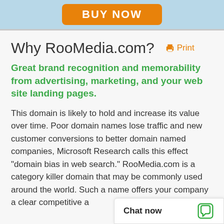[Figure (other): Orange BUY NOW button on light blue header bar]
Why RooMedia.com? 🖨 Print
Great brand recognition and memorability from advertising, marketing, and your web site landing pages.
This domain is likely to hold and increase its value over time. Poor domain names lose traffic and new customer conversions to better domain named companies, Microsoft Research calls this effect "domain bias in web search." RooMedia.com is a category killer domain that may be commonly used around the world. Such a name offers your company a clear competitive a…
Chat now